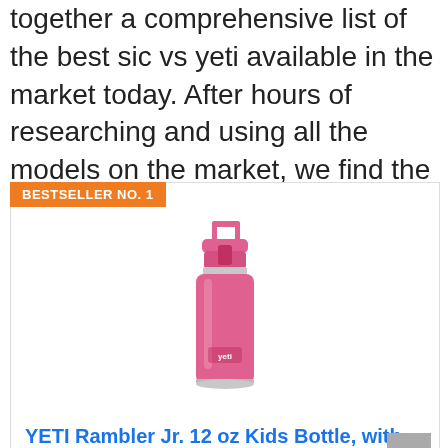together a comprehensive list of the best sic vs yeti available in the market today. After hours of researching and using all the models on the market, we find the best sic vs yeti of 2022. Check out our ranking below!
[Figure (photo): Product card showing a pink YETI Rambler Jr. 12 oz Kids Bottle with Straw Cap in Harbor Pink. Card has an orange 'BESTSELLER NO. 1' badge at top left, the bottle image in center, and blue bold product title at bottom.]
YETI Rambler Jr. 12 oz Kids Bottle, with Straw Cap, Harbor Pink